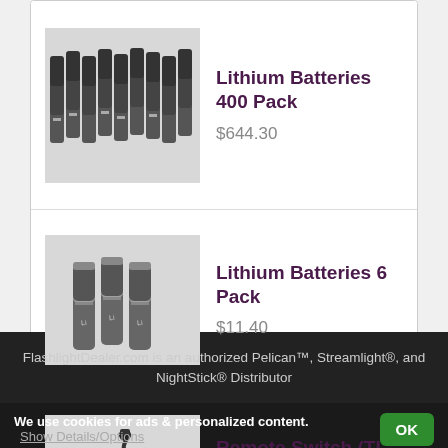[Figure (photo): Product listing: Lithium Batteries 400 Pack at $644.30, with product image]
Lithium Batteries 400 Pack
$644.30
[Figure (photo): Product listing: Lithium Batteries 6 Pack at $11.40, with product image]
Lithium Batteries 6 Pack
$11.40
[Figure (photo): Product listing: Remote Switch (TL-2, Super Tac) - Coil Cord at $49.40, with product image]
Remote Switch (TL-2, Super Tac) - Coil Cord
$49.40
FlashlightDealer.com is an authorized Pelican™, Streamlight®, and NightStick® Distributor
We use cookies for ads & personalized content. Show Details/Options OK